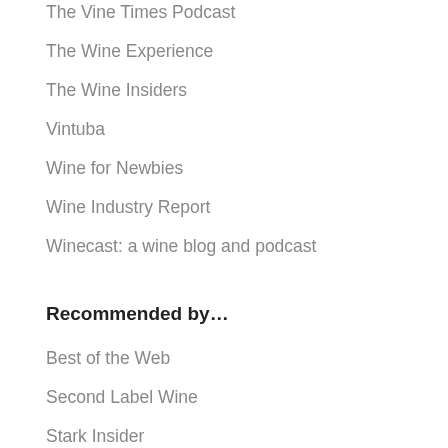The Vine Times Podcast
The Wine Experience
The Wine Insiders
Vintuba
Wine for Newbies
Wine Industry Report
Winecast: a wine blog and podcast
Recommended by…
Best of the Web
Second Label Wine
Stark Insider
WE Magazine for Women
Whitley on Wine